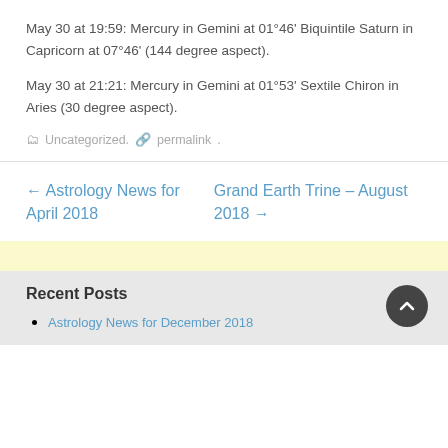May 30 at 19:59: Mercury in Gemini at 01°46’ Biquintile Saturn in Capricorn at 07°46’ (144 degree aspect).
May 30 at 21:21: Mercury in Gemini at 01°53’ Sextile Chiron in Aries (30 degree aspect).
Uncategorized. permalink.
← Astrology News for April 2018
Grand Earth Trine – August 2018 →
Recent Posts
Astrology News for December 2018